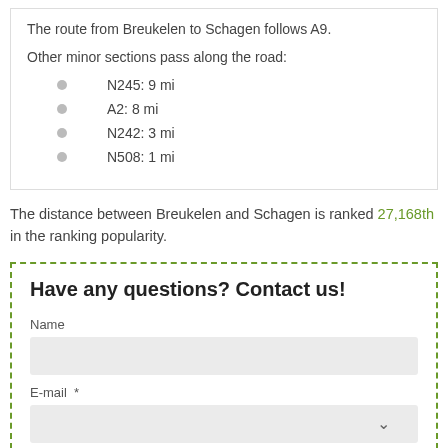The route from Breukelen to Schagen follows A9.
Other minor sections pass along the road:
N245: 9 mi
A2: 8 mi
N242: 3 mi
N508: 1 mi
The distance between Breukelen and Schagen is ranked 27,168th in the ranking popularity.
Have any questions? Contact us!
Name
E-mail *